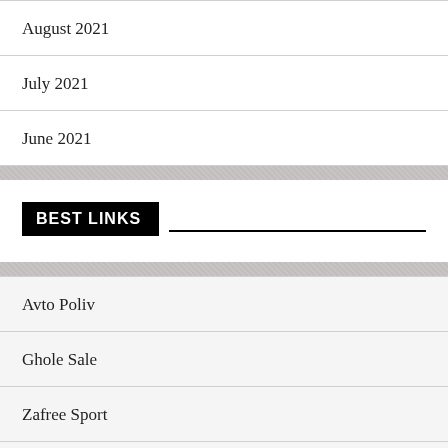August 2021
July 2021
June 2021
BEST LINKS
Avto Poliv
Ghole Sale
Zafree Sport
Keep You
it Photos 85